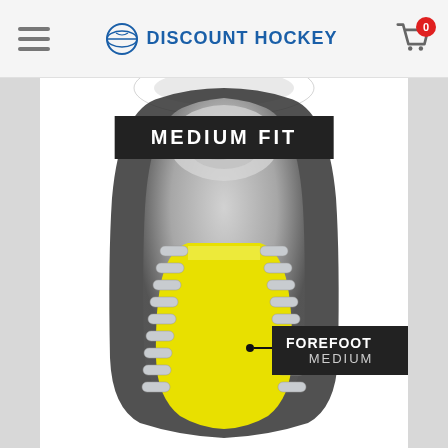DISCOUNT HOCKEY
[Figure (illustration): Product screenshot from Discount Hockey website showing a hockey skate boot cross-section diagram with 'MEDIUM FIT' banner and a callout label pointing to the forefoot area reading 'FOREFOOT MEDIUM']